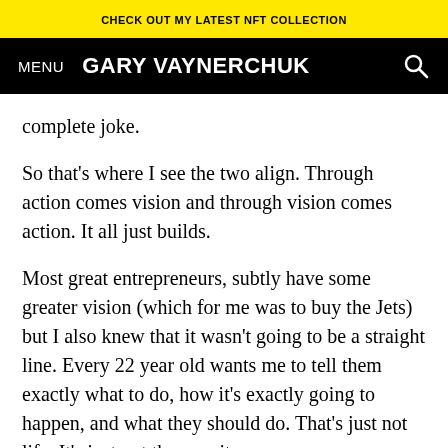CHECK OUT MY LATEST NFT COLLECTION
MENU  GARY VAYNERCHUK
complete joke.
So that’s where I see the two align. Through action comes vision and through vision comes action. It all just builds.
Most great entrepreneurs, subtly have some greater vision (which for me was to buy the Jets) but I also knew that it wasn’t going to be a straight line. Every 22 year old wants me to tell them exactly what to do, how it’s exactly going to happen, and what they should do. That’s just not life. It’s just not the way it